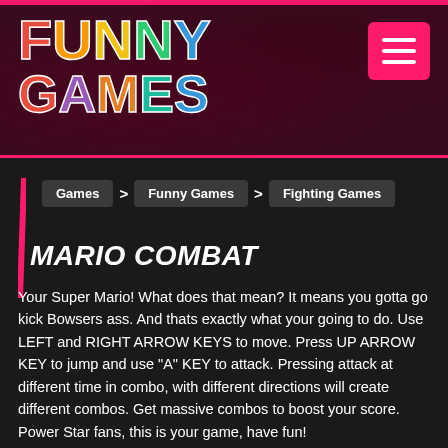[Figure (logo): Funny Games logo with colorful letters on dark maroon background]
Games > Funny Games > Fighting Games
MARIO COMBAT
Your Super Mario! What does that mean? It means you gotta go kick Bowsers ass. And thats exactly what your going to do. Use LEFT and RIGHT ARROW KEYS to move. Press UP ARROW KEY to jump and use "A" KEY to attack. Pressing attack at different time in combo, with different directions will create different combos. Get massive combos to boost your score. Power Star fans, this is your game, have fun!